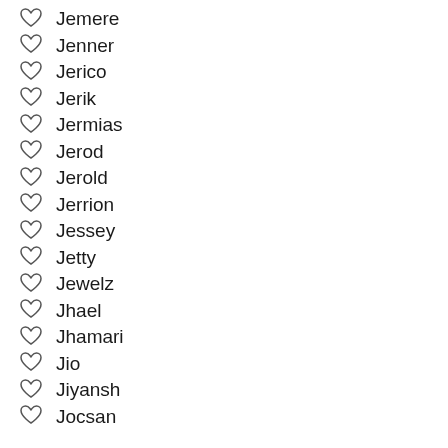Jemere
Jenner
Jerico
Jerik
Jermias
Jerod
Jerold
Jerrion
Jessey
Jetty
Jewelz
Jhael
Jhamari
Jio
Jiyansh
Jocsan